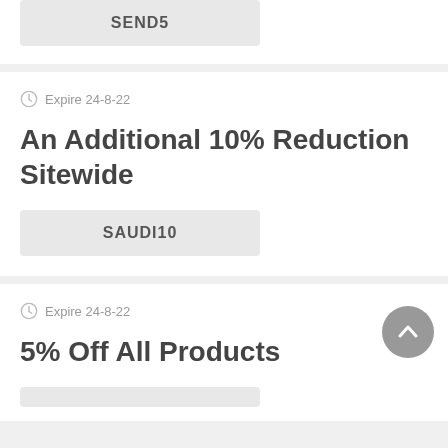SEND5
Expire 24-8-22
An Additional 10% Reduction Sitewide
SAUDI10
Expire 24-8-22
5% Off All Products